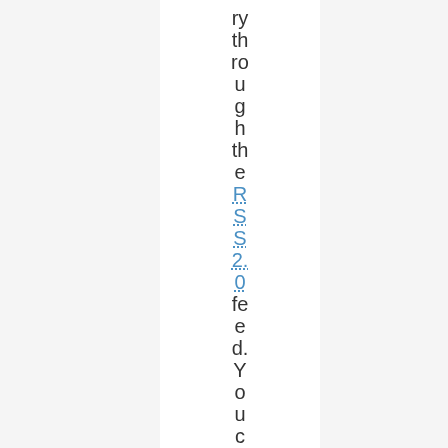ry th ro u g h th e RSS 2.0 fed. You can